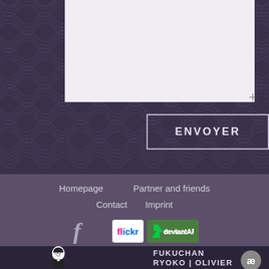[Figure (screenshot): Textarea input box with light grey/lavender background on dark purple Japanese wave patterned background]
ENVOYER
Homepage    Partner and friends
Contact    Imprint
[Figure (logo): Facebook f icon in grey/purple]
[Figure (logo): Flickr logo badge and DeviantART logo badge side by side]
[Figure (illustration): Cartoon character illustration of a person with glasses in black and white]
FUKUCHAN
RYOKO | OLIVIER
BAUBRAND